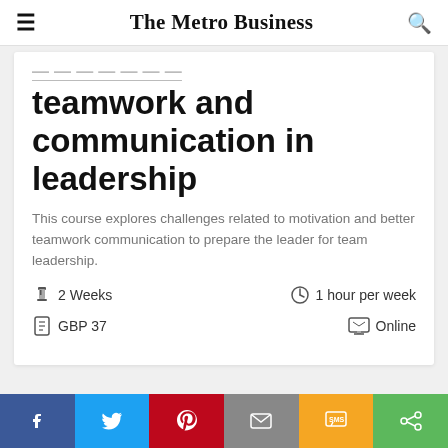The Metro Business
teamwork and communication in leadership
This course explores challenges related to motivation and better teamwork communication to prepare the leader for team leadership.
2 Weeks
1 hour per week
GBP 37
Online